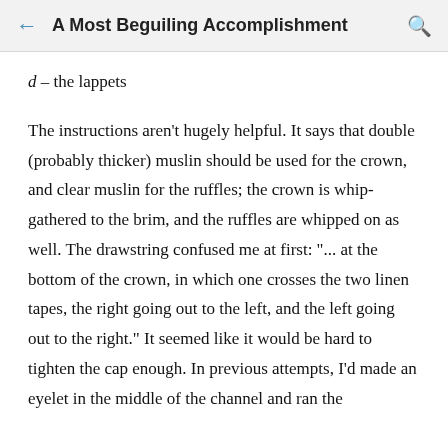A Most Beguiling Accomplishment
d – the lappets
The instructions aren't hugely helpful. It says that double (probably thicker) muslin should be used for the crown, and clear muslin for the ruffles; the crown is whip-gathered to the brim, and the ruffles are whipped on as well. The drawstring confused me at first: "... at the bottom of the crown, in which one crosses the two linen tapes, the right going out to the left, and the left going out to the right." It seemed like it would be hard to tighten the cap enough. In previous attempts, I'd made an eyelet in the middle of the channel and ran the